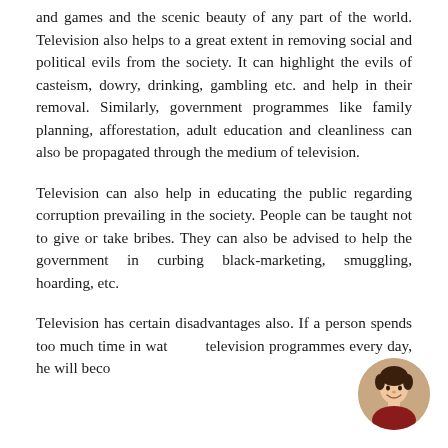and games and the scenic beauty of any part of the world. Television also helps to a great extent in removing social and political evils from the society. It can highlight the evils of casteism, dowry, drinking, gambling etc. and help in their removal. Similarly, government programmes like family planning, afforestation, adult education and cleanliness can also be propagated through the medium of television.
Television can also help in educating the public regarding corruption prevailing in the society. People can be taught not to give or take bribes. They can also be advised to help the government in curbing black-marketing, smuggling, hoarding, etc.
Television has certain disadvantages also. If a person spends too much time in watching television programmes every day, he will become